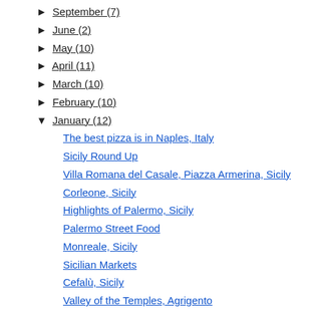► September (7)
► June (2)
► May (10)
► April (11)
► March (10)
► February (10)
▼ January (12)
The best pizza is in Naples, Italy
Sicily Round Up
Villa Romana del Casale, Piazza Armerina, Sicily
Corleone, Sicily
Highlights of Palermo, Sicily
Palermo Street Food
Monreale, Sicily
Sicilian Markets
Cefalù, Sicily
Valley of the Temples, Agrigento
21 Month Summary